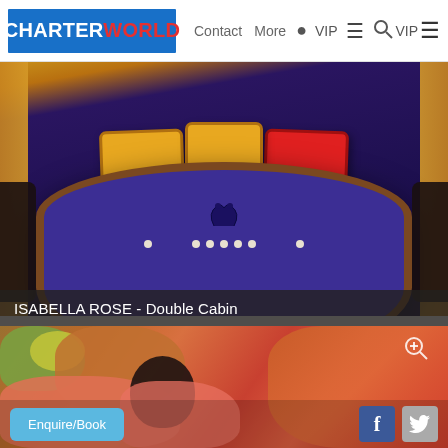CHARTERWORLD  Contact  More  VIP
[Figure (photo): Interior shot of a yacht double cabin with a large round bed with purple/navy bedding, yellow and red decorative pillows, swan towel art, and floral petals, set against curved dark wood furniture and golden curtains.]
ISABELLA ROSE - Double Cabin
[Figure (photo): Close-up photo of a lavish seafood and food spread featuring prawns/shrimp, crab, vegetables, lemon, and various seafood items in a dark bucket/bowl arrangement.]
Enquire/Book